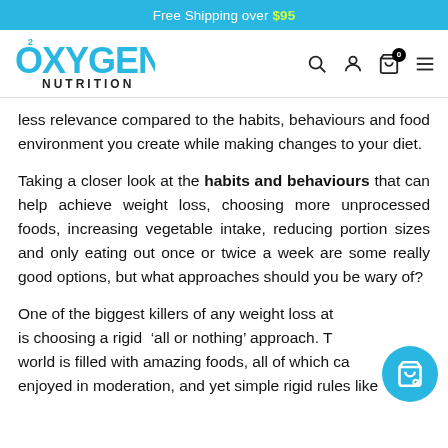Free Shipping over $95
[Figure (logo): Oxygen Nutrition logo in blue with O2 symbol]
less relevance compared to the habits, behaviours and food environment you create while making changes to your diet.
Taking a closer look at the habits and behaviours that can help achieve weight loss, choosing more unprocessed foods, increasing vegetable intake, reducing portion sizes and only eating out once or twice a week are some really good options, but what approaches should you be wary of?
One of the biggest killers of any weight loss attempt is choosing a rigid ‘all or nothing’ approach. The world is filled with amazing foods, all of which can be enjoyed in moderation, and yet simple rigid rules like